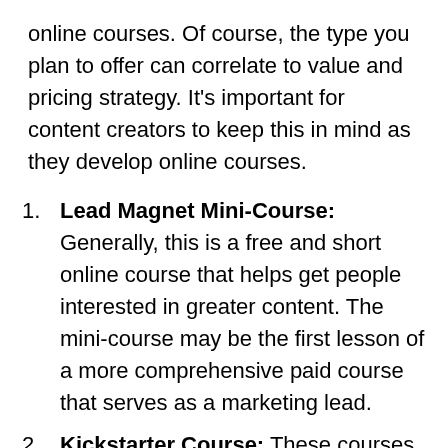online courses. Of course, the type you plan to offer can correlate to value and pricing strategy. It's important for content creators to keep this in mind as they develop online courses.
Lead Magnet Mini-Course: Generally, this is a free and short online course that helps get people interested in greater content. The mini-course may be the first lesson of a more comprehensive paid course that serves as a marketing lead.
Kickstarter Course: These courses are a gateway for content creators into